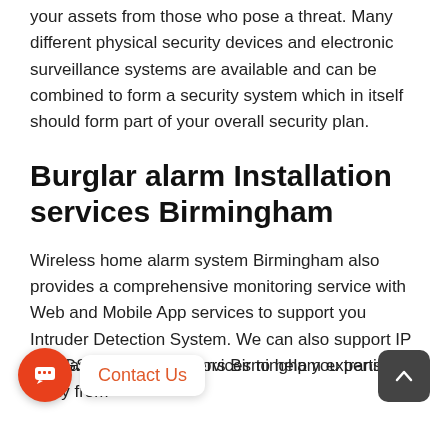your assets from those who pose a threat. Many different physical security devices and electronic surveillance systems are available and can be combined to form a security system which in itself should form part of your overall security plan.
Burglar alarm Installation services Birmingham
Wireless home alarm system Birmingham also provides a comprehensive monitoring service with Web and Mobile App services to support you Intruder Detection System. We can also support IP and GSM monitoring services to help you transition away from
Burglar Alarm Contractors Birmingham expertise and